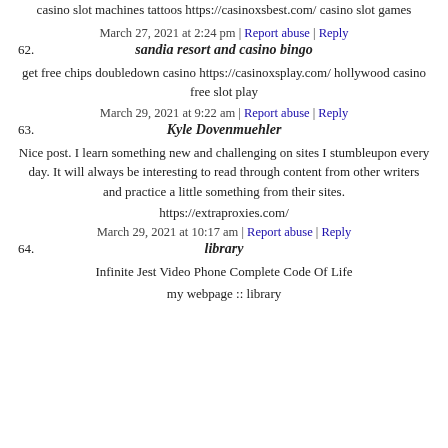casino slot machines tattoos https://casinoxsbest.com/ casino slot games
March 27, 2021 at 2:24 pm | Report abuse | Reply
62. sandia resort and casino bingo
get free chips doubledown casino https://casinoxsplay.com/ hollywood casino free slot play
March 29, 2021 at 9:22 am | Report abuse | Reply
63. Kyle Dovenmuehler
Nice post. I learn something new and challenging on sites I stumbleupon every day. It will always be interesting to read through content from other writers and practice a little something from their sites.
https://extraproxies.com/
March 29, 2021 at 10:17 am | Report abuse | Reply
64. library
Infinite Jest Video Phone Complete Code Of Life
my webpage :: library